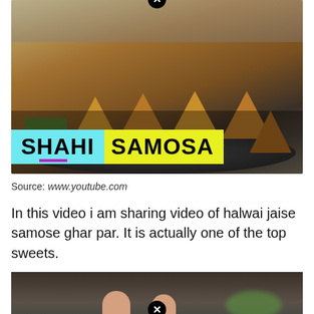[Figure (photo): Photo of shahi samosas on a steel plate with green chutney. Text overlay reads 'SHAHI SAMOSA' on cyan and yellow background banners.]
Source: www.youtube.com
In this video i am sharing video of halwai jaise samose ghar par. It is actually one of the top sweets.
[Figure (photo): Partial photo showing hands holding/making samosa with green coriander visible in background.]